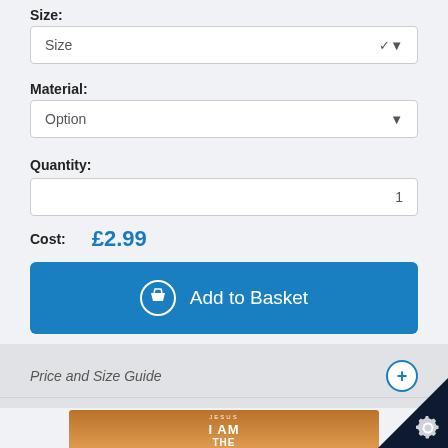Size:
[Figure (screenshot): Size dropdown selector showing 'Size' with a chevron arrow]
Material:
[Figure (screenshot): Material dropdown selector showing 'Option' with a chevron arrow]
Quantity:
[Figure (screenshot): Quantity input box showing value 1]
Cost: £2.99
[Figure (screenshot): Blue 'Add to Basket' button with basket icon]
Price and Size Guide
[Figure (photo): Inspirational image with text 'I AM THE light OF THE WORLD' on a warm sunset background]